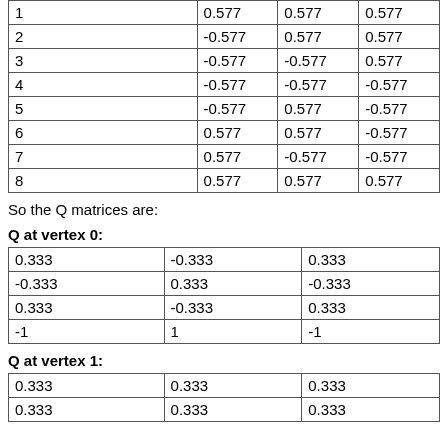| 1 | 0.577 | 0.577 | 0.577 |
| 2 | -0.577 | 0.577 | 0.577 |
| 3 | -0.577 | -0.577 | 0.577 |
| 4 | -0.577 | -0.577 | -0.577 |
| 5 | -0.577 | 0.577 | -0.577 |
| 6 | 0.577 | 0.577 | -0.577 |
| 7 | 0.577 | -0.577 | -0.577 |
| 8 | 0.577 | 0.577 | 0.577 |
So the Q matrices are:
Q at vertex 0:
| 0.333 | -0.333 | 0.333 |
| -0.333 | 0.333 | -0.333 |
| 0.333 | -0.333 | 0.333 |
| -1 | 1 | -1 |
Q at vertex 1:
| 0.333 | 0.333 | 0.333 |
| 0.333 | 0.333 | 0.333 |